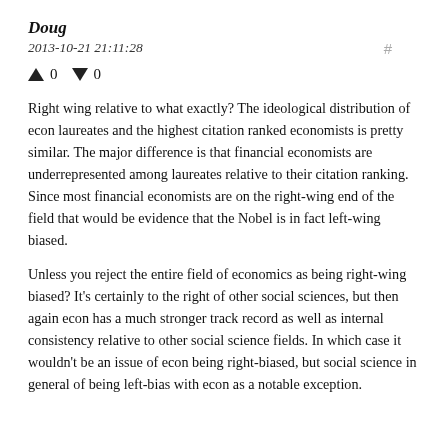Doug
2013-10-21 21:11:28
↑ 0 ↓ 0
Right wing relative to what exactly? The ideological distribution of econ laureates and the highest citation ranked economists is pretty similar. The major difference is that financial economists are underrepresented among laureates relative to their citation ranking. Since most financial economists are on the right-wing end of the field that would be evidence that the Nobel is in fact left-wing biased.
Unless you reject the entire field of economics as being right-wing biased? It's certainly to the right of other social sciences, but then again econ has a much stronger track record as well as internal consistency relative to other social science fields. In which case it wouldn't be an issue of econ being right-biased, but social science in general of being left-bias with econ as a notable exception.